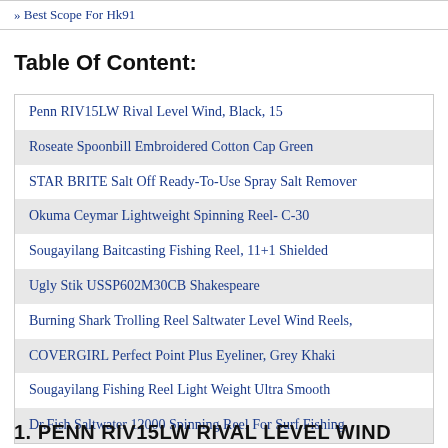» Best Scope For Hk91
Table Of Content:
Penn RIV15LW Rival Level Wind, Black, 15
Roseate Spoonbill Embroidered Cotton Cap Green
STAR BRITE Salt Off Ready-To-Use Spray Salt Remover
Okuma Ceymar Lightweight Spinning Reel- C-30
Sougayilang Baitcasting Fishing Reel, 11+1 Shielded
Ugly Stik USSP602M30CB Shakespeare
Burning Shark Trolling Reel Saltwater Level Wind Reels,
COVERGIRL Perfect Point Plus Eyeliner, Grey Khaki
Sougayilang Fishing Reel Light Weight Ultra Smooth
Dr.Fish Saltwater 12000 Spinning Reel For Surf Fishing,
1. PENN RIV15LW RIVAL LEVEL WIND